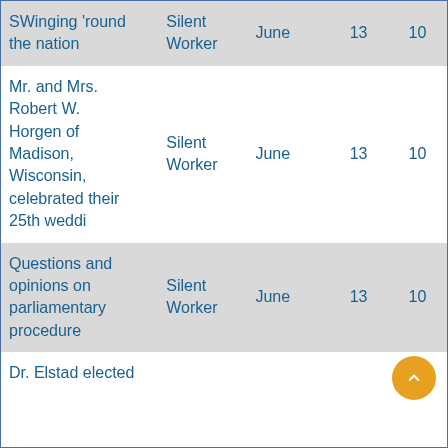| SWinging 'round the nation | Silent Worker | June | 13 | 10 |
| Mr. and Mrs. Robert W. Horgen of Madison, Wisconsin, celebrated their 25th weddi | Silent Worker | June | 13 | 10 |
| Questions and opinions on parliamentary procedure | Silent Worker | June | 13 | 10 |
| Dr. Elstad elected |  |  |  |  |